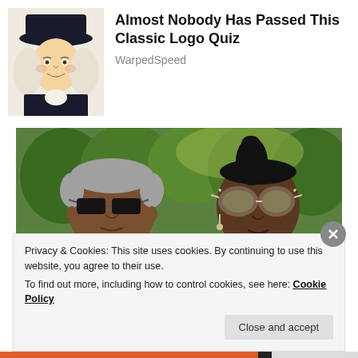[Figure (illustration): Quaker Oats mascot - man in colonial hat with white wig and ruffled collar]
Almost Nobody Has Passed This Classic Logo Quiz
WarpedSpeed
[Figure (photo): Two people wearing sunglasses outdoors with green trees in background. Man on left wearing blue checkered shirt with dark sunglasses, woman on right with hair up wearing silver/white cat-eye sunglasses.]
Privacy & Cookies: This site uses cookies. By continuing to use this website, you agree to their use.
To find out more, including how to control cookies, see here: Cookie Policy
Close and accept